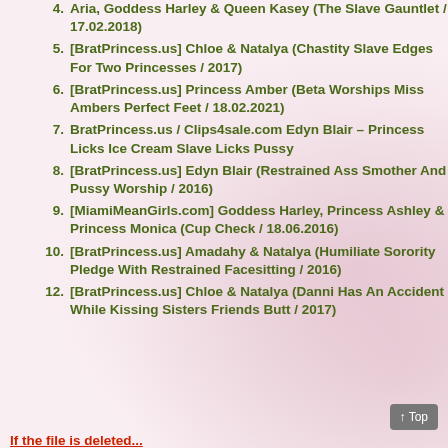4. [BratPrincess.us] Chloe & Natalya (Chastity Slave Edges For Two Princesses / 2017)
5. [BratPrincess.us] Princess Amber (Beta Worships Miss Ambers Perfect Feet / 18.02.2021)
6. BratPrincess.us / Clips4sale.com Edyn Blair – Princess Licks Ice Cream Slave Licks Pussy
7. [BratPrincess.us] Edyn Blair (Restrained Ass Smother And Pussy Worship / 2016)
8. [MiamiMeanGirls.com] Goddess Harley, Princess Ashley & Princess Monica (Cup Check / 18.06.2016)
9. [BratPrincess.us] Amadahy & Natalya (Humiliate Sorority Pledge With Restrained Facesitting / 2016)
10. [BratPrincess.us] Chloe & Natalya (Danni Has An Accident While Kissing Sisters Friends Butt / 2017)
If the file is deleted...